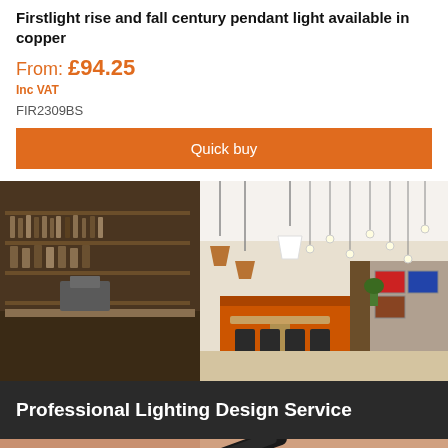Firstlight rise and fall century pendant light available in copper
From: £94.25
Inc VAT
FIR2309BS
Quick buy
[Figure (photo): Restaurant interior with pendant lights hanging from ceiling, wooden tables and chairs, orange booth seating, shelves with bottles and jars in background]
Professional Lighting Design Service
[Figure (photo): Close-up of hands holding design tools, partial view]